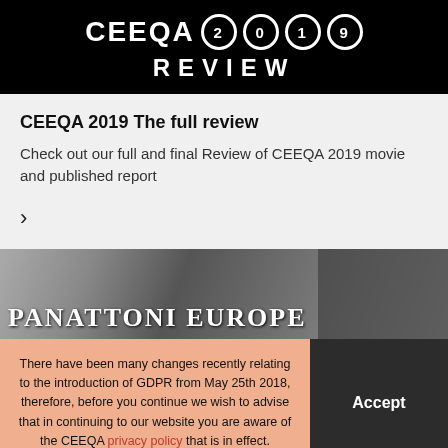CEEQA 2019 REVIEW
CEEQA 2019 The full review
Check out our full and final Review of CEEQA 2019 movie and published report
[Figure (photo): Black and white photo showing Panattoni Europe signage/book cover with dark background and architectural elements on the right]
There have been many changes recently relating to the introduction of GDPR from May 25th 2018, therefore, before you continue we wish to advise that in continuing to our website you are aware of the CEEQA privacy policy that is in effect.
Accept